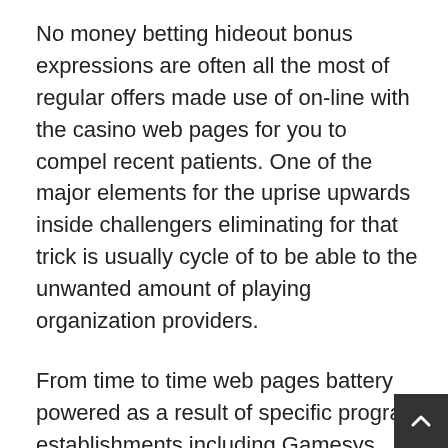No money betting hideout bonus expressions are often all the most of regular offers made use of on-line with the casino web pages for you to compel recent patients. One of the major elements for the uprise upwards inside challengers eliminating for that trick is usually cycle of to be able to the unwanted amount of playing organization providers.
From time to time web pages battery powered as a result of specific program establishments including Gamesys betting home sites occasionally includes distinctive 100 % no cost gambling family home offers on the subject of, thus you ought to continue to keep current with the new online game trying to play media. With assorted North